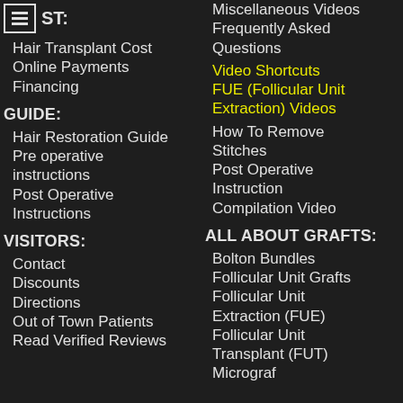ST: (with menu icon, partially visible - COST:)
Hair Transplant Cost
Online Payments
Financing
GUIDE:
Hair Restoration Guide
Pre operative instructions
Post Operative Instructions
VISITORS:
Contact
Discounts
Directions
Out of Town Patients
Read Verified Reviews
Miscellaneous Videos
Frequently Asked Questions
Video Shortcuts
FUE (Follicular Unit Extraction) Videos
How To Remove Stitches
Post Operative Instruction Compilation Video
ALL ABOUT GRAFTS:
Bolton Bundles
Follicular Unit Grafts
Follicular Unit Extraction (FUE)
Follicular Unit Transplant (FUT)
Micrograf